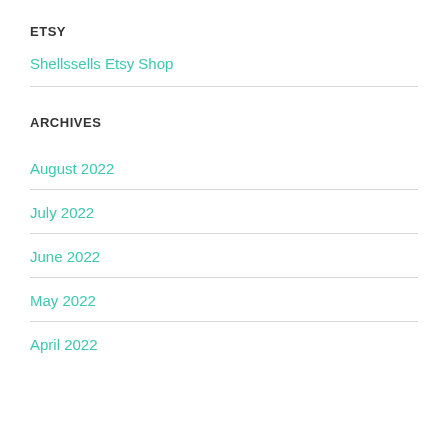ETSY
Shellssells Etsy Shop
ARCHIVES
August 2022
July 2022
June 2022
May 2022
April 2022